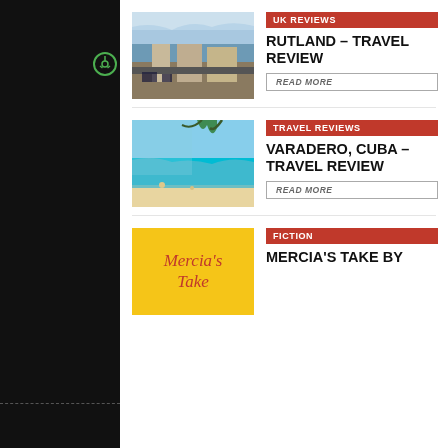[Figure (screenshot): Left dark navigation panel with share icon, dashed divider, CONTACT text, copyright symbol]
[Figure (photo): Aerial view of Rutland town with church spire and buildings]
UK REVIEWS
RUTLAND – TRAVEL REVIEW
READ MORE
[Figure (photo): Tropical beach scene in Varadero Cuba with turquoise water and palm trees]
TRAVEL REVIEWS
VARADERO, CUBA – TRAVEL REVIEW
READ MORE
[Figure (illustration): Yellow book cover reading Mercia's Take]
FICTION
MERCIA'S TAKE BY
Search for
1. USED AUDI CARS FOR SALE
2. AUDI A8 REVIEWS